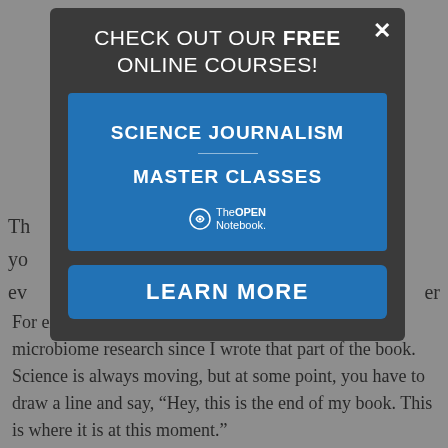[Figure (screenshot): Modal popup advertisement for free online Science Journalism Master Classes from The Open Notebook, with a blue course banner, and a 'LEARN MORE' button. Overlaid on a partially visible article page.]
For example, there's been huge progress in coral microbiome research since I wrote that part of the book. Science is always moving, but at some point, you have to draw a line and say, "Hey, this is the end of my book. This is where it is at this moment."